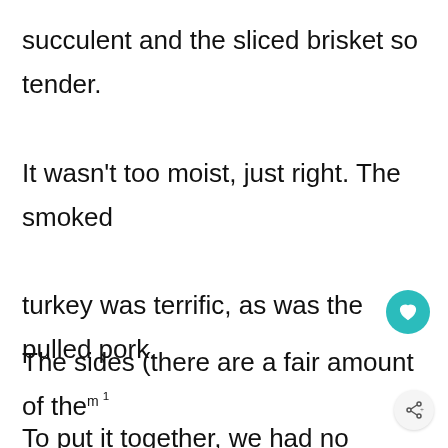succulent and the sliced brisket so tender. It wasn't too moist, just right. The smoked turkey was terrific, as was the pulled pork. To put it together, we had no problem with the meat. The sauce was creamy and tangy with vinegar, delicious on the brisket and pork.
The sides (there are a fair amount of them1 were okay. Except for the sweet potato